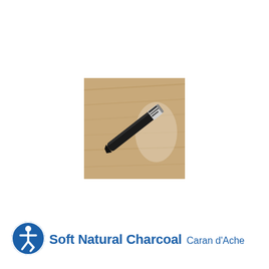[Figure (photo): A black charcoal stick (Caran d'Ache soft natural charcoal) lying diagonally on a light wood surface, with a small white label visible near one end.]
[Figure (logo): Accessibility icon: a circular dark blue badge with a white human figure in motion (universal accessibility symbol).]
Soft Natural Charcoal Caran d'Ache